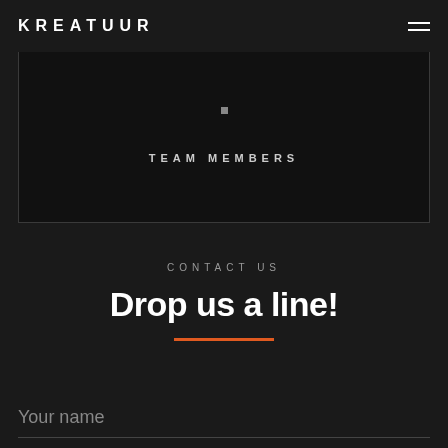KREATUUR
TEAM MEMBERS
CONTACT US
Drop us a line!
Your name